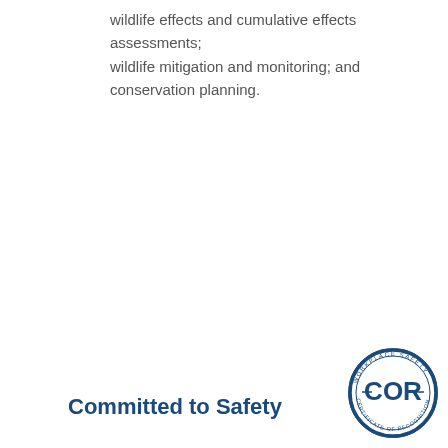wildlife effects and cumulative effects assessments; wildlife mitigation and monitoring; and conservation planning.
Committed to Safety
[Figure (logo): COR Workplace Safety Certificate of Recognition circular badge/seal in dark blue]